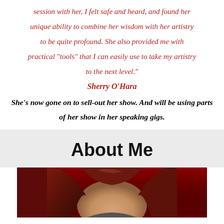session with her, I felt safe and heard, and found her unique ability to combine her wisdom with her artistry to be quite profound. She also provided me with practical "tools" that I can easily use to take my artistry to the next level."
Sherry O'Hara
She's now gone on to sell-out her show. And will be using parts of her show in her speaking gigs.
About Me
[Figure (photo): Portrait photo of a woman with reddish-brown hair, partially cropped at the bottom of the page]